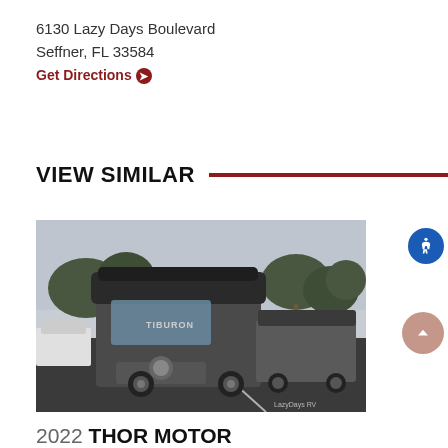6130 Lazy Days Boulevard
Seffner, FL 33584
Get Directions →
VIEW SIMILAR
[Figure (photo): Photo of a 2022 Thor Motor Coach Tiburon Sprinter RV parked in a Lazydays RV lot, with a tree line in the background and other RVs visible. The RV is dark grey with a rooftop expansion pod.]
2022 THOR MOTOR COACH TIBURON SPRINTER S...